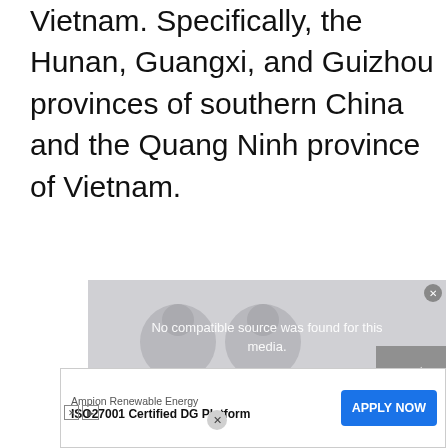Vietnam. Specifically, the Hunan, Guangxi, and Guizhou provinces of southern China and the Quang Ninh province of Vietnam.
[Figure (screenshot): A webpage advertisement overlay with a video player showing 'No compatible source was found for this media.' message, overlaid with an ad banner for Ampion Renewable Energy / ISO27001 Certified DG Platform with an 'APPLY NOW' button.]